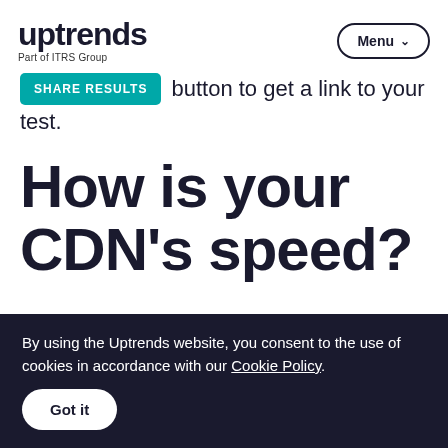uptrends Part of ITRS Group | Menu
SHARE RESULTS button to get a link to your test.
How is your CDN's speed?
By using the Uptrends website, you consent to the use of cookies in accordance with our Cookie Policy.
Got it